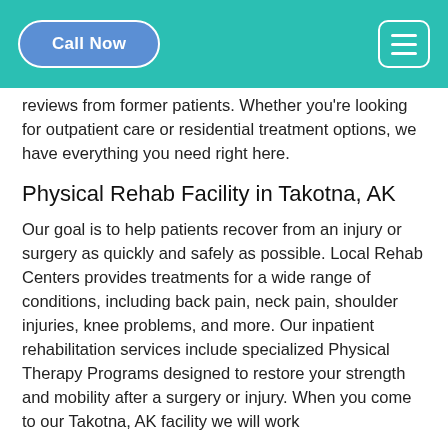Call Now | [hamburger menu]
reviews from former patients. Whether you're looking for outpatient care or residential treatment options, we have everything you need right here.
Physical Rehab Facility in Takotna, AK
Our goal is to help patients recover from an injury or surgery as quickly and safely as possible. Local Rehab Centers provides treatments for a wide range of conditions, including back pain, neck pain, shoulder injuries, knee problems, and more. Our inpatient rehabilitation services include specialized Physical Therapy Programs designed to restore your strength and mobility after a surgery or injury. When you come to our Takotna, AK facility we will work